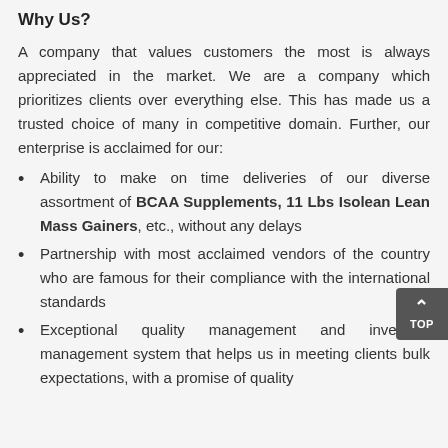Why Us?
A company that values customers the most is always appreciated in the market. We are a company which prioritizes clients over everything else. This has made us a trusted choice of many in competitive domain. Further, our enterprise is acclaimed for our:
Ability to make on time deliveries of our diverse assortment of BCAA Supplements, 11 Lbs Isolean Lean Mass Gainers, etc., without any delays
Partnership with most acclaimed vendors of the country who are famous for their compliance with the international standards
Exceptional quality management and inventory management system that helps us in meeting clients bulk expectations, with a promise of quality